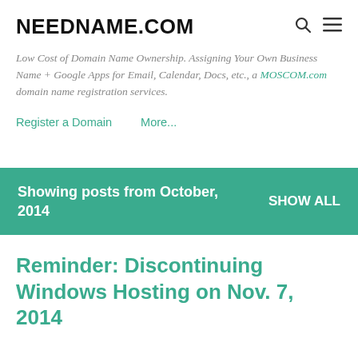NEEDNAME.COM
Low Cost of Domain Name Ownership. Assigning Your Own Business Name + Google Apps for Email, Calendar, Docs, etc., a MOSCOM.com domain name registration services.
Register a Domain
More...
Showing posts from October, 2014   SHOW ALL
Reminder: Discontinuing Windows Hosting on Nov. 7, 2014